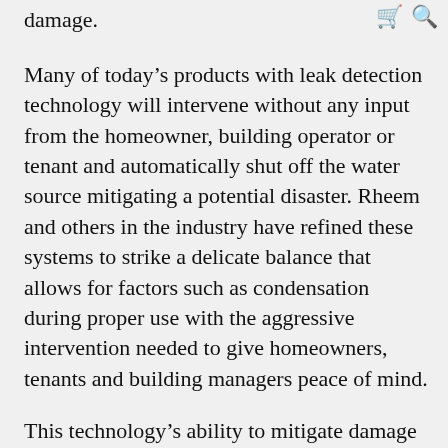damage.
[cart icon] [search icon]
Many of today’s products with leak detection technology will intervene without any input from the homeowner, building operator or tenant and automatically shut off the water source mitigating a potential disaster. Rheem and others in the industry have refined these systems to strike a delicate balance that allows for factors such as condensation during proper use with the aggressive intervention needed to give homeowners, tenants and building managers peace of mind.
This technology’s ability to mitigate damage is why it is also a growing area of focus for those outside of the plumbing industry, such as insurance companies, commercial real estate investors and building managers.